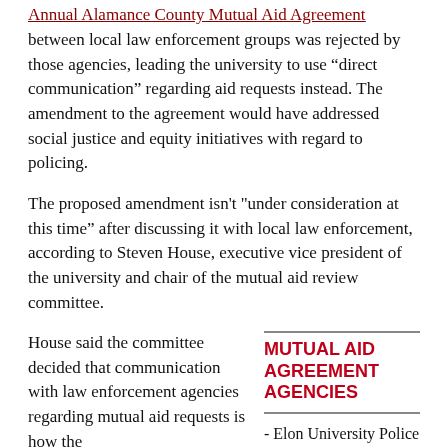Annual Alamance County Mutual Aid Agreement
between local law enforcement groups was rejected by those agencies, leading the university to use “direct communication” regarding aid requests instead. The amendment to the agreement would have addressed social justice and equity initiatives with regard to policing.
The proposed amendment isn't "under consideration at this time” after discussing it with local law enforcement, according to Steven House, executive vice president of the university and chair of the mutual aid review committee.
House said the committee decided that communication with law enforcement agencies regarding mutual aid requests is how the
MUTUAL AID AGREEMENT AGENCIES
- Elon University Police
- Town of Elon Police
- Alamance County Sheriff’s Office